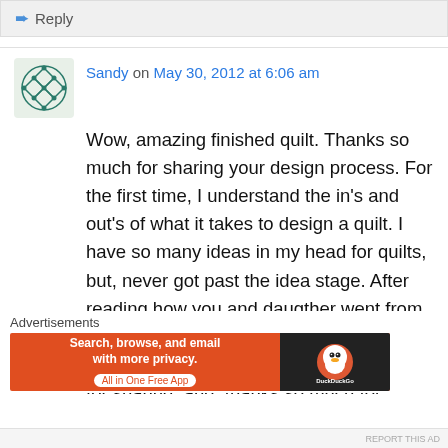↵ Reply
Sandy on May 30, 2012 at 6:06 am
Wow, amazing finished quilt. Thanks so much for sharing your design process. For the first time, I understand the in's and out's of what it takes to design a quilt. I have so many ideas in my head for quilts, but, never got past the idea stage. After reading how you and daugther went from an idea to the finished quilt, I now feel like the little train that could. Thanks so much for sharing, and, thanks so much for giving me the push I needed to get my ideas moving.
Advertisements
[Figure (screenshot): DuckDuckGo advertisement banner: orange background with text 'Search, browse, and email with more privacy. All in One Free App' and DuckDuckGo logo on dark right panel]
REPORT THIS AD